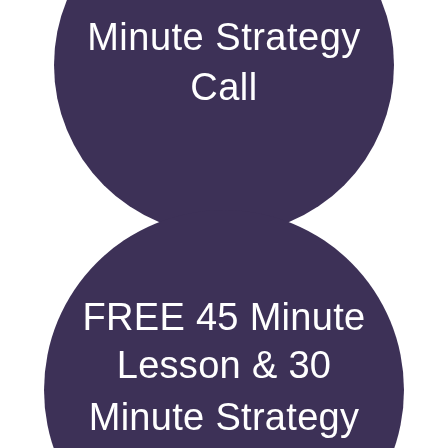[Figure (illustration): Dark purple circle (partially cropped at top) containing white text reading 'Minute Strategy Call']
[Figure (illustration): Dark purple circle containing white text reading 'FREE 45 Minute Lesson & 30 Minute Strategy Call' (partially cropped at bottom)]